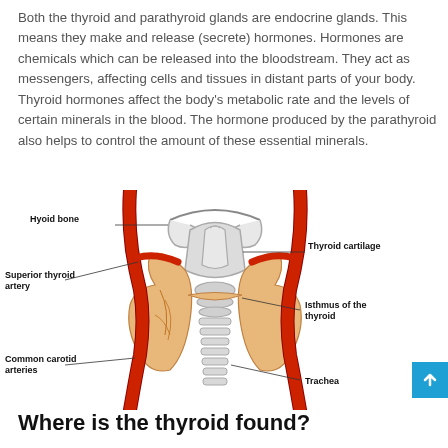Both the thyroid and parathyroid glands are endocrine glands. This means they make and release (secrete) hormones. Hormones are chemicals which can be released into the bloodstream. They act as messengers, affecting cells and tissues in distant parts of your body. Thyroid hormones affect the body's metabolic rate and the levels of certain minerals in the blood. The hormone produced by the parathyroid also helps to control the amount of these essential minerals.
[Figure (illustration): Anatomical diagram of the thyroid gland and surrounding structures, showing the hyoid bone at the top, thyroid cartilage on the right, superior thyroid artery on the left, isthmus of the thyroid in the center-right, common carotid arteries on the lower left, and trachea at the bottom right. The thyroid lobes are colored in orange/yellow with the carotid arteries in red.]
Where is the thyroid found?